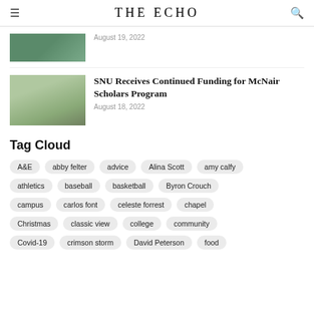THE ECHO
August 19, 2022
SNU Receives Continued Funding for McNair Scholars Program
August 18, 2022
Tag Cloud
A&E
abby felter
advice
Alina Scott
amy calfy
athletics
baseball
basketball
Byron Crouch
campus
carlos font
celeste forrest
chapel
Christmas
classic view
college
community
Covid-19
crimson storm
David Peterson
food